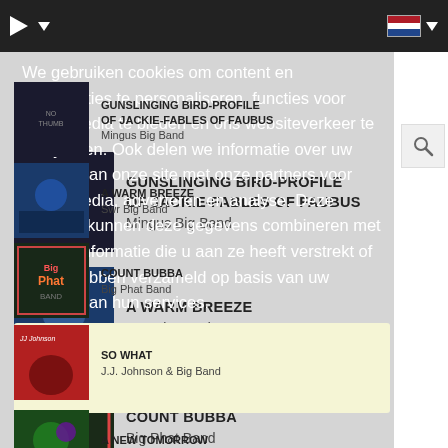[Figure (screenshot): Dark top navigation bar with play button, dropdown arrow on left, Dutch flag and dropdown on right]
We gebruiken cookies om content en advertenties te personaliseren, functies voor social media te bieden en ons websiteverkeer te analyseren. Ook delen we informatie over uw gebruik van onze site met onze partners voor social media, adverteren en analyse. Deze partners kunnen deze gegevens combineren met andere informatie die u aan ze heeft verstrekt of die ze hebben verzameld op basis van uw gebruik van hun services.
Details weergeven
GUNSLINGING BIRD-PROFILE OF JACKIE-FABLES OF FAUBUS — Mingus Big Band
A WARM BREEZE — Swr Big Band
COUNT BUBBA — Big Phat Band
SO WHAT — J.J. Johnson & Big Band
A NEW TOMORROW — Meander Big Band